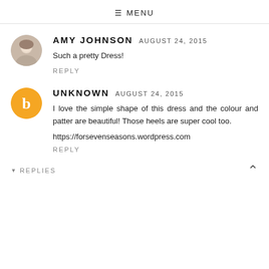≡ MENU
AMY JOHNSON  AUGUST 24, 2015
Such a pretty Dress!
REPLY
UNKNOWN  AUGUST 24, 2015
I love the simple shape of this dress and the colour and patter are beautiful! Those heels are super cool too.
https://forsevenseasons.wordpress.com
REPLY
▼ REPLIES